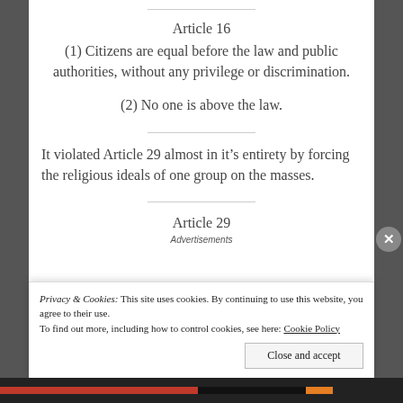Article 16
(1) Citizens are equal before the law and public authorities, without any privilege or discrimination.
(2) No one is above the law.
It violated Article 29 almost in it’s entirety by forcing the religious ideals of one group on the masses.
Article 29
Advertisements
Privacy & Cookies: This site uses cookies. By continuing to use this website, you agree to their use.
To find out more, including how to control cookies, see here: Cookie Policy
Close and accept